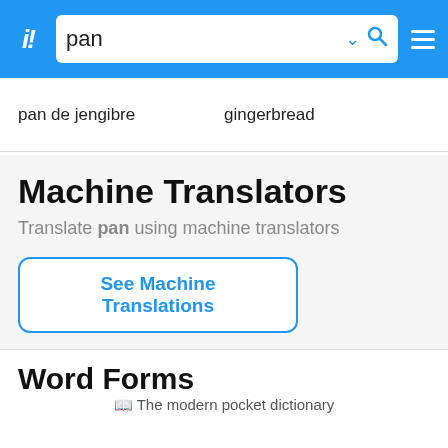i! pan [search bar with chevron and search icon] ≡
| Spanish | English |
| --- | --- |
| pan de jengibre | gingerbread |
Machine Translators
Translate pan using machine translators
See Machine Translations
Word Forms
📖 The modern pocket dictionary
[Figure (other): Advertisement banner: ACUERDO DE CONCILIACIÓN DE ZIGNATURE - Si usted compró determinados productos de alimento para mascotas Zignature, con la etiqueta "sin cereales" o "sin pollo", es posible que sea elegible para recibir beneficios.]